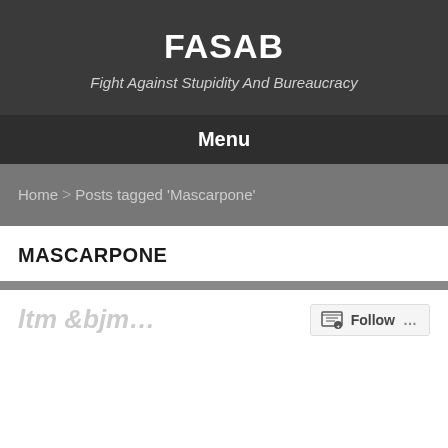FASAB
Fight Against Stupidity And Bureaucracy
Menu
Home > Posts tagged 'Mascarpone'
MASCARPONE
Follow ...